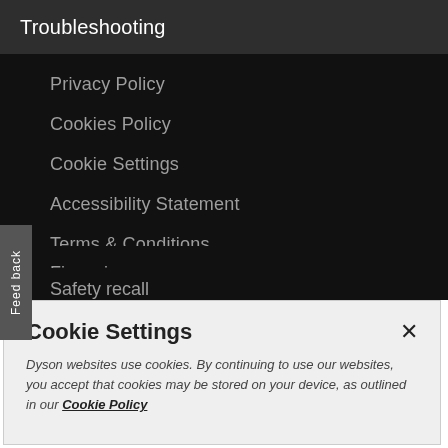Troubleshooting
Privacy Policy
Cookies Policy
Cookie Settings
Accessibility Statement
Terms & Conditions
Order status
Financing
Safety recall
Cookie Settings
Dyson websites use cookies. By continuing to use our websites, you accept that cookies may be stored on your device, as outlined in our Cookie Policy